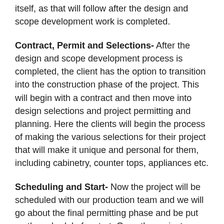itself, as that will follow after the design and scope development work is completed.
Contract, Permit and Selections- After the design and scope development process is completed, the client has the option to transition into the construction phase of the project. This will begin with a contract and then move into design selections and project permitting and planning. Here the clients will begin the process of making the various selections for their project that will make it unique and personal for them, including cabinetry, counter tops, appliances etc.
Scheduling and Start- Now the project will be scheduled with our production team and we will go about the final permitting phase and be put on the schedule for start. Once the project starts, the Jensen Hus team will begin it's mobilization of the job and begin the actual